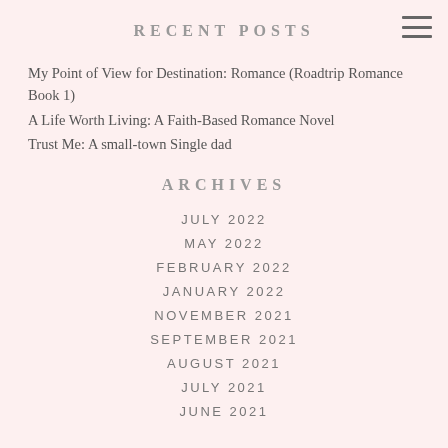RECENT POSTS
My Point of View for Destination: Romance (Roadtrip Romance Book 1)
A Life Worth Living: A Faith-Based Romance Novel
Trust Me: A small-town Single dad
ARCHIVES
JULY 2022
MAY 2022
FEBRUARY 2022
JANUARY 2022
NOVEMBER 2021
SEPTEMBER 2021
AUGUST 2021
JULY 2021
JUNE 2021